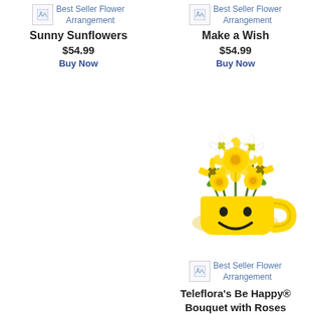[Figure (screenshot): Broken image placeholder for Sunny Sunflowers Bouquet - Best Seller Flower Arrangement]
Best Seller Flower Arrangement
Sunny Sunflowers
$54.99
Buy Now
[Figure (screenshot): Broken image placeholder for Make a Wish Bouquet - Best Seller Flower Arrangement]
Best Seller Flower Arrangement
Make a Wish
$54.99
Buy Now
[Figure (photo): Photo of a yellow smiley face mug filled with yellow roses, yellow daisies, and white daisies — Teleflora's Be Happy Bouquet with Roses]
[Figure (screenshot): Broken image placeholder for Teleflora's Be Happy Bouquet with Roses - Best Seller Flower Arrangement]
Best Seller Flower Arrangement
Teleflora's Be Happy® Bouquet with Roses